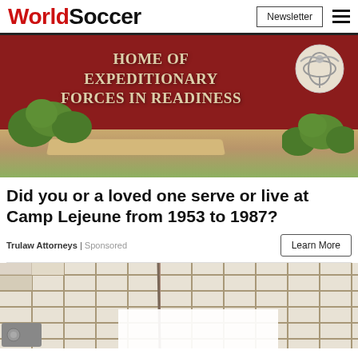WorldSoccer | Newsletter
[Figure (illustration): Camp Lejeune military base illustration with red background reading 'HOME OF EXPEDITIONARY FORCES IN READINESS' with USMC emblem and green bushes]
Did you or a loved one serve or live at Camp Lejeune from 1953 to 1987?
Trulaw Attorneys | Sponsored
[Figure (photo): Photo of dirty bathroom tiles with mold/staining on grout lines]